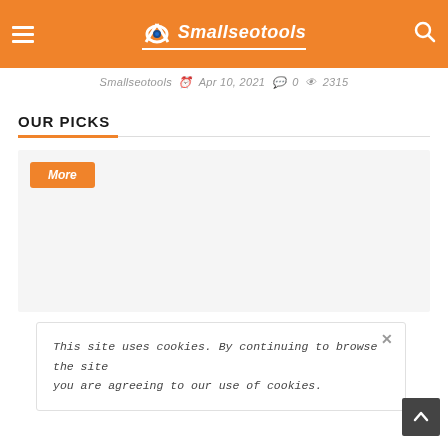Smallseotools
Smallseotools   Apr 10, 2021   0   2315
OUR PICKS
More
This site uses cookies. By continuing to browse the site you are agreeing to our use of cookies.